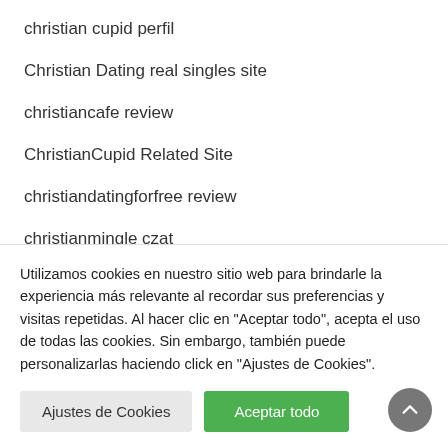christian cupid perfil
Christian Dating real singles site
christiancafe review
ChristianCupid Related Site
christiandatingforfree review
christianmingle czat
christianmingle de review
christianmingle review
christianmingle visitors
Utilizamos cookies en nuestro sitio web para brindarle la experiencia más relevante al recordar sus preferencias y visitas repetidas. Al hacer clic en "Aceptar todo", acepta el uso de todas las cookies. Sin embargo, también puede personalizarlas haciendo click en "Ajustes de Cookies".